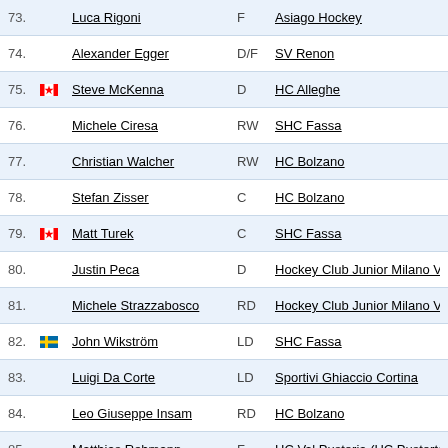| # | Flag | Name | Pos | Team |
| --- | --- | --- | --- | --- |
| 73. | IT | Luca Rigoni | F | Asiago Hockey |
| 74. | IT | Alexander Egger | D/F | SV Renon |
| 75. | CA | Steve McKenna | D | HC Alleghe |
| 76. | IT | Michele Ciresa | RW | SHC Fassa |
| 77. | IT | Christian Walcher | RW | HC Bolzano |
| 78. | IT | Stefan Zisser | C | HC Bolzano |
| 79. | CA | Matt Turek | C | SHC Fassa |
| 80. | IT | Justin Peca | D | Hockey Club Junior Milano Vipers |
| 81. | IT | Michele Strazzabosco | RD | Hockey Club Junior Milano Vipers |
| 82. | SE | John Wikström | LD | SHC Fassa |
| 83. | IT | Luigi Da Corte | LD | Sportivi Ghiaccio Cortina |
| 84. | IT | Leo Giuseppe Insam | RD | HC Bolzano |
| 85. | IT | Matthias Rehmann | F | HC Val Pusteria (HC Pustertal) |
| 86. | IT | Martino Soracreppa | RW | SHC Fassa |
| 87. | CA | Jordan Bianchin | C | Asiago Hockey |